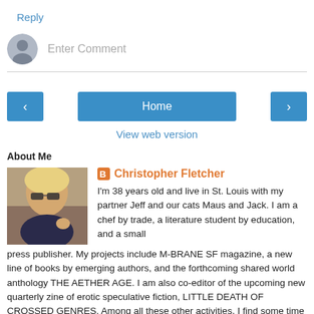Reply
[Figure (other): Comment input area with avatar circle and 'Enter Comment' placeholder text]
[Figure (other): Navigation bar with left arrow button, Home button, and right arrow button]
View web version
About Me
[Figure (photo): Profile photo of Christopher Fletcher, a person with blonde hair and sunglasses]
Christopher Fletcher
I'm 38 years old and live in St. Louis with my partner Jeff and our cats Maus and Jack. I am a chef by trade, a literature student by education, and a small press publisher. My projects include M-BRANE SF magazine, a new line of books by emerging authors, and the forthcoming shared world anthology THE AETHER AGE. I am also co-editor of the upcoming new quarterly zine of erotic speculative fiction, LITTLE DEATH OF CROSSED GENRES. Among all these other activities, I find some time to write fiction, much of it infused with food.